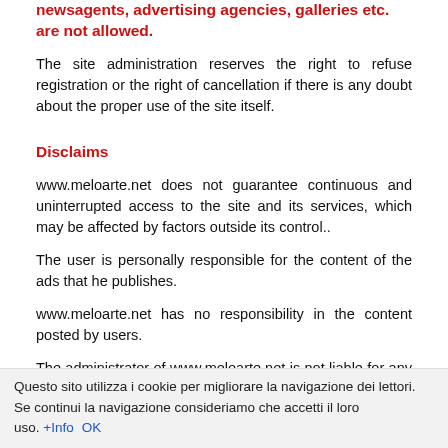newsagents, advertising agencies, galleries etc. are not allowed.
The site administration reserves the right to refuse registration or the right of cancellation if there is any doubt about the proper use of the site itself.
Disclaims
www.meloarte.net does not guarantee continuous and uninterrupted access to the site and its services, which may be affected by factors outside its control..
The user is personally responsible for the content of the ads that he publishes.
www.meloarte.net has no responsibility in the content posted by users.
The administrator of www.meloarte.net is not liable for any economic loss, direct or indirect damages, including any loss or damage suffered by users or third parties as a result of using
Questo sito utilizza i cookie per migliorare la navigazione dei lettori. Se continui la navigazione consideriamo che accetti il loro uso.  +Info  OK